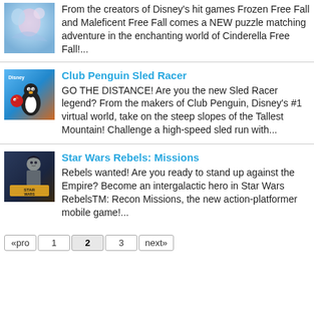[Figure (illustration): Cinderella Free Fall app icon thumbnail]
From the creators of Disney's hit games Frozen Free Fall and Maleficent Free Fall comes a NEW puzzle matching adventure in the enchanting world of Cinderella Free Fall!...
[Figure (illustration): Club Penguin Sled Racer app icon thumbnail with Disney branding and penguin character]
Club Penguin Sled Racer
GO THE DISTANCE! Are you the new Sled Racer legend? From the makers of Club Penguin, Disney's #1 virtual world, take on the steep slopes of the Tallest Mountain! Challenge a high-speed sled run with...
[Figure (illustration): Star Wars Rebels: Missions app icon thumbnail with character and Star Wars logo]
Star Wars Rebels: Missions
Rebels wanted! Are you ready to stand up against the Empire? Become an intergalactic hero in Star Wars RebelsTM: Recon Missions, the new action-platformer mobile game!...
«pro  1  2  3  next»